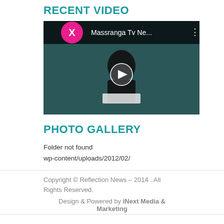RECENT VIDEO
[Figure (screenshot): Video thumbnail showing a person at a desk with a play button overlay, title 'Massranga Tv Ne...']
PHOTO GALLERY
Folder not found wp-content/uploads/2012/02/
Copyright © Reflection News – 2014 . All Rights Reserved.
Design & Powered by iNext Media & Marketing